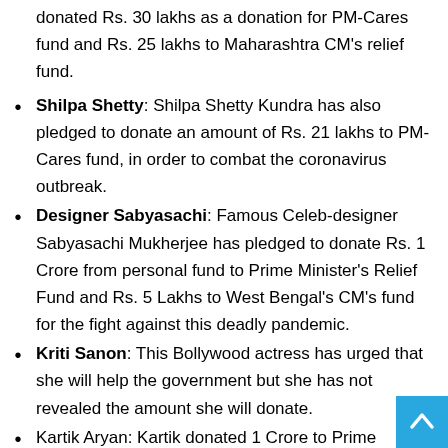donated Rs. 30 lakhs as a donation for PM-Cares fund and Rs. 25 lakhs to Maharashtra CM's relief fund.
Shilpa Shetty: Shilpa Shetty Kundra has also pledged to donate an amount of Rs. 21 lakhs to PM-Cares fund, in order to combat the coronavirus outbreak.
Designer Sabyasachi: Famous Celeb-designer Sabyasachi Mukherjee has pledged to donate Rs. 1 Crore from personal fund to Prime Minister's Relief Fund and Rs. 5 Lakhs to West Bengal's CM's fund for the fight against this deadly pandemic.
Kriti Sanon: This Bollywood actress has urged that she will help the government but she has not revealed the amount she will donate.
Kartik Aryan: Kartik donated 1 Crore to Prime Minister's Relief fund.
Bhumi Pednekar: This 30-year old actor from B-town has also pledged to contribute to the PM-Cares fund, whether it is the food, supplies, essentials or research, whatever is